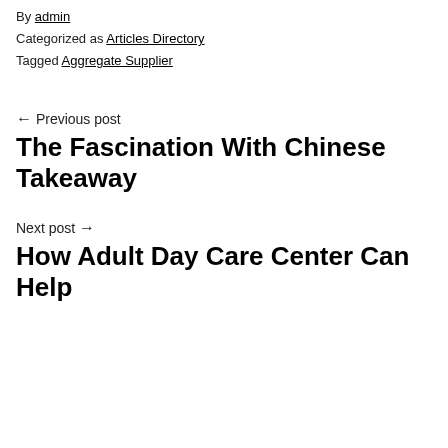Published June 1, 2022
By admin
Categorized as Articles Directory
Tagged Aggregate Supplier
← Previous post
The Fascination With Chinese Takeaway
Next post →
How Adult Day Care Center Can Help